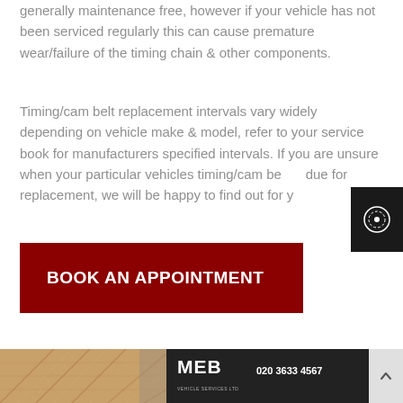generally maintenance free, however if your vehicle has not been serviced regularly this can cause premature wear/failure of the timing chain & other components.
Timing/cam belt replacement intervals vary widely depending on vehicle make & model, refer to your service book for manufacturers specified intervals. If you are unsure when your particular vehicles timing/cam belt is due for replacement, we will be happy to find out for you.
[Figure (other): Dark overlay panel with circular icon/badge]
BOOK AN APPOINTMENT
[Figure (photo): Bottom section showing a cork/wooden texture photo on the left and MEB Vehicle Services Ltd signage with phone number 020 3633 4567 on a dark background on the right]